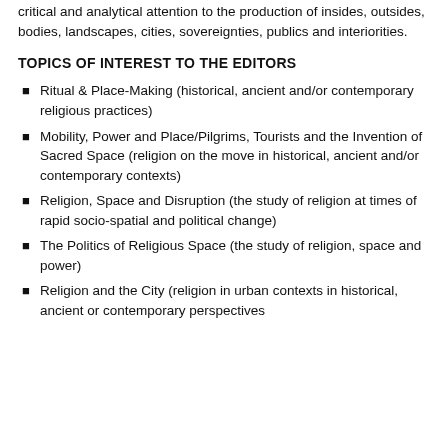critical and analytical attention to the production of insides, outsides, bodies, landscapes, cities, sovereignties, publics and interiorities.
TOPICS OF INTEREST TO THE EDITORS
Ritual & Place-Making (historical, ancient and/or contemporary religious practices)
Mobility, Power and Place/Pilgrims, Tourists and the Invention of Sacred Space (religion on the move in historical, ancient and/or contemporary contexts)
Religion, Space and Disruption (the study of religion at times of rapid socio-spatial and political change)
The Politics of Religious Space (the study of religion, space and power)
Religion and the City (religion in urban contexts in historical, ancient or contemporary perspectives